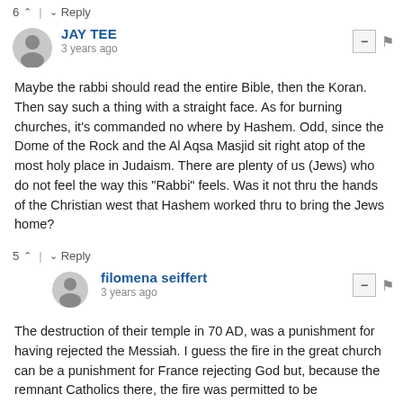6 ^ | v Reply
JAY TEE
3 years ago
Maybe the rabbi should read the entire Bible, then the Koran. Then say such a thing with a straight face. As for burning churches, it's commanded no where by Hashem. Odd, since the Dome of the Rock and the Al Aqsa Masjid sit right atop of the most holy place in Judaism. There are plenty of us (Jews) who do not feel the way this "Rabbi" feels. Was it not thru the hands of the Christian west that Hashem worked thru to bring the Jews home?
5 ^ | v Reply
filomena seiffert
3 years ago
The destruction of their temple in 70 AD, was a punishment for having rejected the Messiah. I guess the fire in the great church can be a punishment for France rejecting God but, because the remnant Catholics there, the fire was permitted to be extinguished.
5 ^ | v 1 Reply